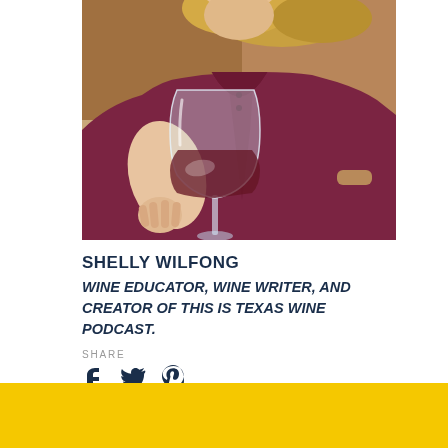[Figure (photo): A woman in a dark burgundy/maroon V-neck dress holding up a wine glass with red wine, photographed from the shoulders down. Her blonde hair is visible at the top. The photo is cropped to show from mid-face to mid-torso.]
SHELLY WILFONG
WINE EDUCATOR, WINE WRITER, AND CREATOR OF THIS IS TEXAS WINE PODCAST.
SHARE
Share icons: Facebook, Twitter, Pinterest